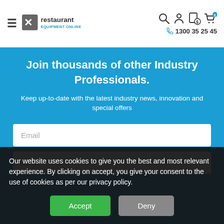[Figure (logo): Restaurant Equipment Online logo with hamburger menu icon]
1300 35 25 45
Join thousands of other Industry Professionals.
Keep up-to-date with the latest industry news, innovation and special offers
Email
Name
Our website uses cookies to give you the best and most relevant experience. By clicking on accept, you give your consent to the use of cookies as per our privacy policy.
Accept
Deny